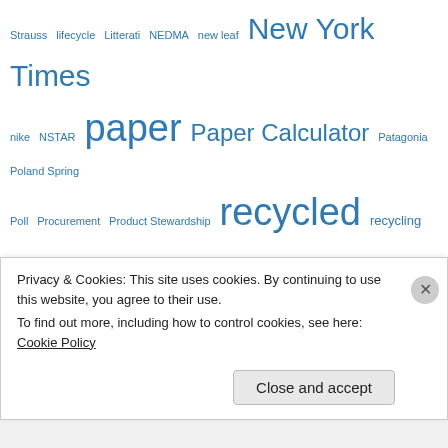[Figure (infographic): Tag cloud with various sustainability and business-related terms in varying sizes in blue, including: Strauss, lifecycle, Litterati, NEDMA, new leaf, New York Times, nike, NSTAR, paper, Paper Calculator, Patagonia, Poland Spring, Poll, Procurement, Product Stewardship, recycled, recycling, Renewable Energy, Shai Agassi, shareholder value, solar energy, soy inks, Staples, Stop & Shop, supply chain, sustainability, Sustainable Marketing, T. Boone Pickens, Target Marketing, tedd saunders, Terrachoice, Tom Friedman, transparency, transportation, wal-mart, wall]
Privacy & Cookies: This site uses cookies. By continuing to use this website, you agree to their use. To find out more, including how to control cookies, see here: Cookie Policy
Close and accept